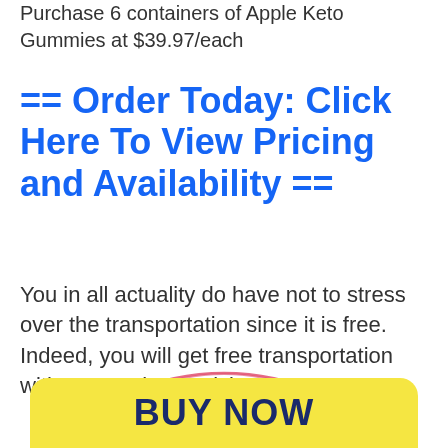Purchase 6 containers of Apple Keto Gummies at $39.97/each
== Order Today: Click Here To View Pricing and Availability ==
You in all actuality do have not to stress over the transportation since it is free. Indeed, you will get free transportation with any pack you pick.
[Figure (illustration): Red arc/swoosh graphic above a yellow Buy Now button at the bottom of the page]
BUY NOW